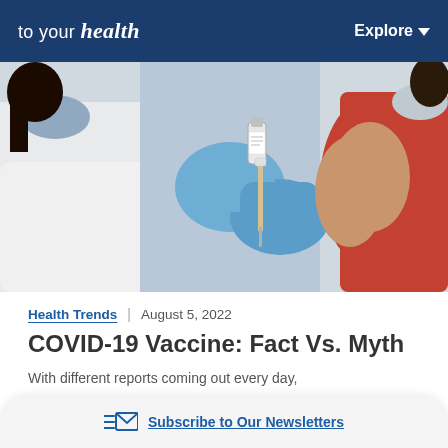to your health | Explore
[Figure (photo): Close-up photo of a healthcare worker in blue gloves holding a vaccine syringe and vial, about to administer a shot to a patient wearing a red floral top and face mask]
Health Trends | August 5, 2022
COVID-19 Vaccine: Fact Vs. Myth
With different reports coming out every day,
Subscribe to Our Newsletters